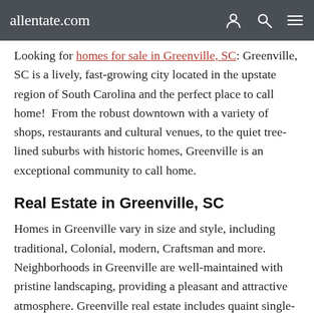allentate.com
Looking for homes for sale in Greenville, SC: Greenville, SC is a lively, fast-growing city located in the upstate region of South Carolina and the perfect place to call home!  From the robust downtown with a variety of shops, restaurants and cultural venues, to the quiet tree-lined suburbs with historic homes, Greenville is an exceptional community to call home.
Real Estate in Greenville, SC
Homes in Greenville vary in size and style, including traditional, Colonial, modern, Craftsman and more. Neighborhoods in Greenville are well-maintained with pristine landscaping, providing a pleasant and attractive atmosphere. Greenville real estate includes quaint single-story homes, grandiose mansions on spacious lots, brand new condominiums, and nearly anything in between. The diversity in the real estate landscape of